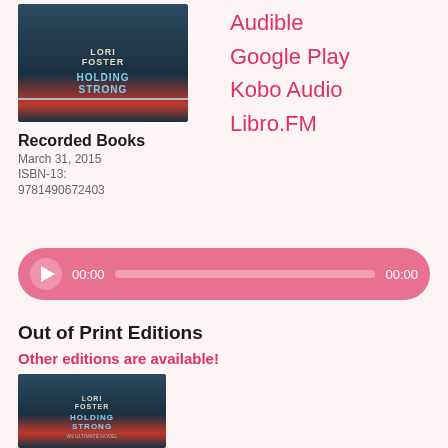[Figure (illustration): Book cover of 'Holding Strong' by Lori Foster, audiobook edition, dark teal background with red band]
Recorded Books
March 31, 2015
ISBN-13:
9781490672403
Audible
Google Play
Kobo Audio
Libro.FM
[Figure (other): Audio player bar with play button, 00:00 start time, progress track, 00:00 end time]
Out of Print Editions
Other editions are available!
[Figure (illustration): Book cover of 'Holding Strong' by Lori Foster, print edition with man in Santa hat]